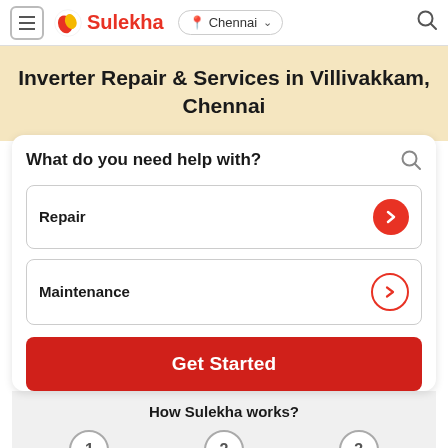Sulekha — Chennai
Inverter Repair & Services in Villivakkam, Chennai
What do you need help with?
Repair
Maintenance
Get Started
How Sulekha works?
1  2  3